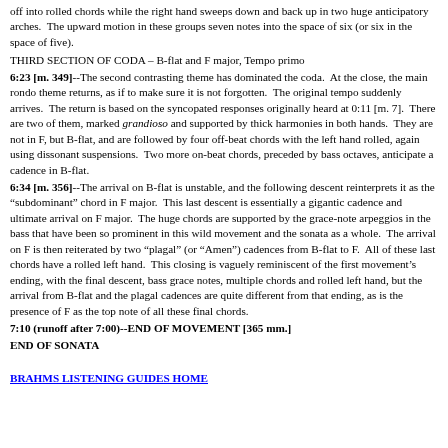off into rolled chords while the right hand sweeps down and back up in two huge anticipatory arches.  The upward motion in these groups seven notes into the space of six (or six in the space of five).
THIRD SECTION OF CODA – B-flat and F major, Tempo primo
6:23 [m. 349]--The second contrasting theme has dominated the coda.  At the close, the main rondo theme returns, as if to make sure it is not forgotten.  The original tempo suddenly arrives.  The return is based on the syncopated responses originally heard at 0:11 [m. 7].  There are two of them, marked grandioso and supported by thick harmonies in both hands.  They are not in F, but B-flat, and are followed by four off-beat chords with the left hand rolled, again using dissonant suspensions.  Two more on-beat chords, preceded by bass octaves, anticipate a cadence in B-flat.
6:34 [m. 356]--The arrival on B-flat is unstable, and the following descent reinterprets it as the "subdominant" chord in F major.  This last descent is essentially a gigantic cadence and ultimate arrival on F major.  The huge chords are supported by the grace-note arpeggios in the bass that have been so prominent in this wild movement and the sonata as a whole.  The arrival on F is then reiterated by two "plagal" (or "Amen") cadences from B-flat to F.  All of these last chords have a rolled left hand.  This closing is vaguely reminiscent of the first movement's ending, with the final descent, bass grace notes, multiple chords and rolled left hand, but the arrival from B-flat and the plagal cadences are quite different from that ending, as is the presence of F as the top note of all these final chords.
7:10 (runoff after 7:00)--END OF MOVEMENT [365 mm.]
END OF SONATA
BRAHMS LISTENING GUIDES HOME